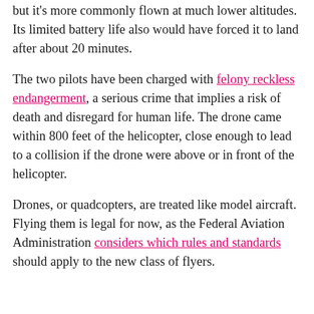but it's more commonly flown at much lower altitudes. Its limited battery life also would have forced it to land after about 20 minutes.
The two pilots have been charged with felony reckless endangerment, a serious crime that implies a risk of death and disregard for human life. The drone came within 800 feet of the helicopter, close enough to lead to a collision if the drone were above or in front of the helicopter.
Drones, or quadcopters, are treated like model aircraft. Flying them is legal for now, as the Federal Aviation Administration considers which rules and standards should apply to the new class of flyers.